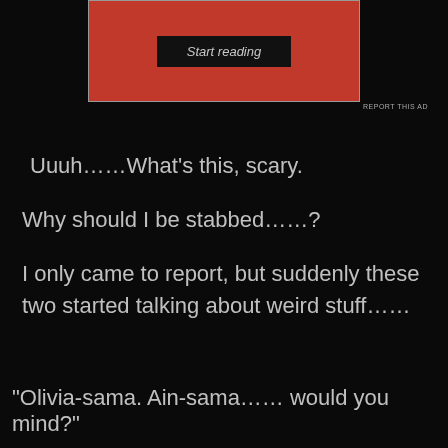[Figure (screenshot): A red advertisement banner with a black 'Start reading' button in the center]
REPORT THIS AD
Uuuh……What's this, scary.
Why should I be stabbed……?
I only came to report, but suddenly these two started talking about weird stuff……
“Olivia-sama. Ain-sama…… would you mind?”